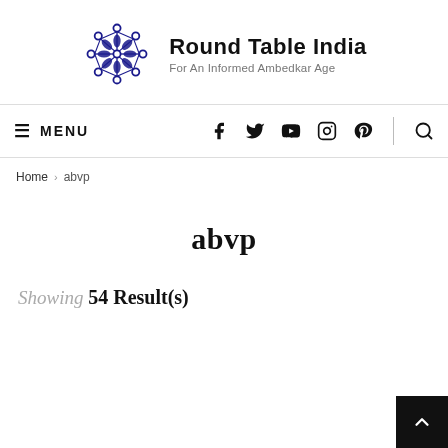[Figure (logo): Round Table India website logo — circular network/community icon in dark navy blue, with the site name and tagline]
Round Table India
For An Informed Ambedkar Age
≡ MENU  [social icons: facebook, twitter, youtube, instagram, pinterest, search]
Home > abvp
abvp
Showing 54 Result(s)